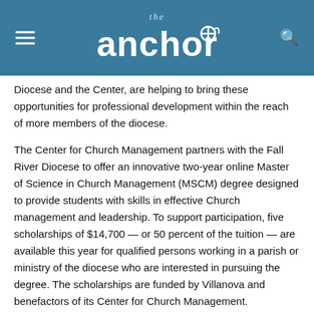the anchor
Diocese and the Center, are helping to bring these opportunities for professional development within the reach of more members of the diocese.
The Center for Church Management partners with the Fall River Diocese to offer an innovative two-year online Master of Science in Church Management (MSCM) degree designed to provide students with skills in effective Church management and leadership. To support participation, five scholarships of $14,700 — or 50 percent of the tuition — are available this year for qualified persons working in a parish or ministry of the diocese who are interested in pursuing the degree. The scholarships are funded by Villanova and benefactors of its Center for Church Management.